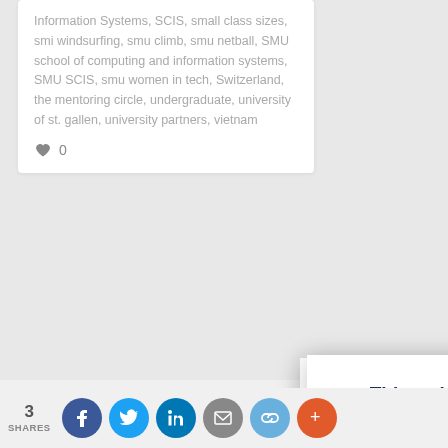Information Systems, SCIS, small class sizes, smi windsurfing, smu climb, smu netball, SMU school of computing and information systems, SMU SCIS, smu women in tech, Switzerland, the mentoring circle, undergraduate, university of st. gallen, university partners, vietnam
♥ 0
◄ WHY I CHOSE
WHY I CHOSE S
[Figure (infographic): Cookie consent modal overlay with title 'This website uses cookies as well as similar tools and technologies to identify, understand and improve visitors' experiences.' with body text and CLOSE button]
3 SHARES [Facebook] [Twitter] [LinkedIn] [Email] [Link] [More]